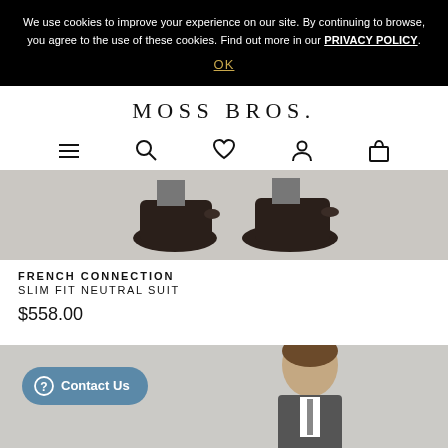We use cookies to improve your experience on our site. By continuing to browse, you agree to the use of these cookies. Find out more in our PRIVACY POLICY.
OK
MOSS BROS.
[Figure (screenshot): Navigation icons: hamburger menu, search, heart/wishlist, user account, shopping bag]
[Figure (photo): Close-up of dark brown leather shoes on grey background, cropped at ankles]
FRENCH CONNECTION
SLIM FIT NEUTRAL SUIT
$558.00
[Figure (photo): Man in suit, head and upper torso visible, brown hair, grey background. Contact Us button overlay with blue rounded rectangle.]